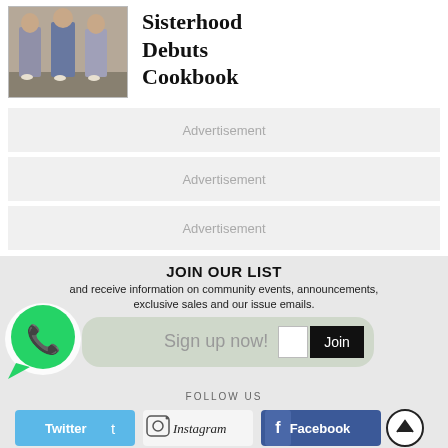[Figure (photo): Three women standing together, wearing dresses]
Sisterhood Debuts Cookbook
Advertisement
Advertisement
Advertisement
JOIN OUR LIST
and receive information on community events, announcements, exclusive sales and our issue emails.
[Figure (logo): WhatsApp logo bubble with phone icon]
Sign up now!
Join
[Figure (infographic): Social media buttons: Twitter, Instagram, Facebook, and scroll-to-top button]